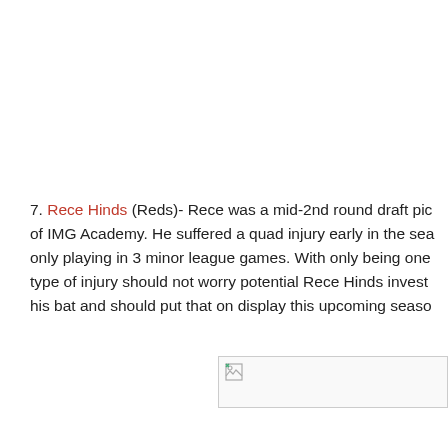7. Rece Hinds (Reds)- Rece was a mid-2nd round draft pick out of IMG Academy. He suffered a quad injury early in the season, only playing in 3 minor league games. With only being one year removed, this type of injury should not worry potential Rece Hinds investors. He has an elite bat and should put that on display this upcoming season.
[Figure (photo): Broken image placeholder in the lower right area of the page]